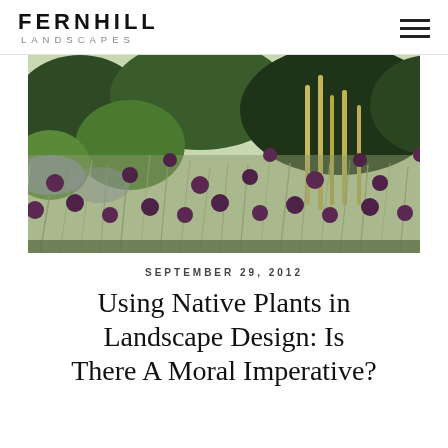FERNHILL LANDSCAPES
[Figure (photo): Garden landscape with tall purple globe-headed flowers (alliums) amid wispy grasses, with trees and shrubs in background]
SEPTEMBER 29, 2012
Using Native Plants in Landscape Design: Is There A Moral Imperative?